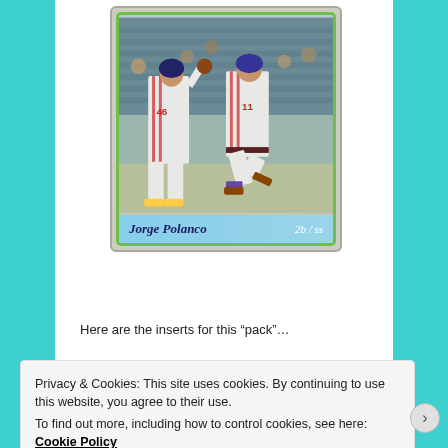[Figure (photo): Baseball trading card featuring Jorge Polanco (#11) celebrating with a teammate (#46), both in Minnesota Twins gray away uniforms. Stadium seats visible in background. Card has green border and light blue nameplate at bottom reading 'Jorge Polanco   2b/ss'.]
Here are the inserts for this "pack"...
Privacy & Cookies: This site uses cookies. By continuing to use this website, you agree to their use.
To find out more, including how to control cookies, see here: Cookie Policy